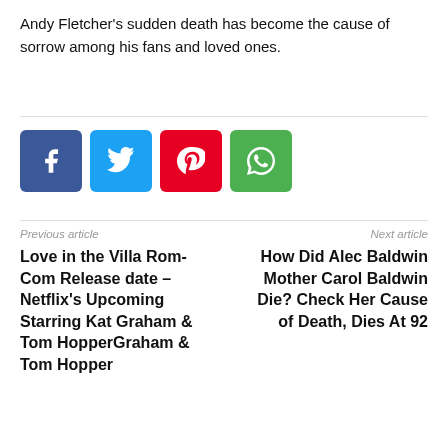Andy Fletcher’s sudden death has become the cause of sorrow among his fans and loved ones.
[Figure (other): Social share buttons: Facebook (blue), Twitter (light blue), Pinterest (red), WhatsApp (green)]
Previous article
Next article
Love in the Villa Rom-Com Release date – Netflix’s Upcoming Starring Kat Graham & Tom Hopper
How Did Alec Baldwin Mother Carol Baldwin Die? Check Her Cause of Death, Dies At 92